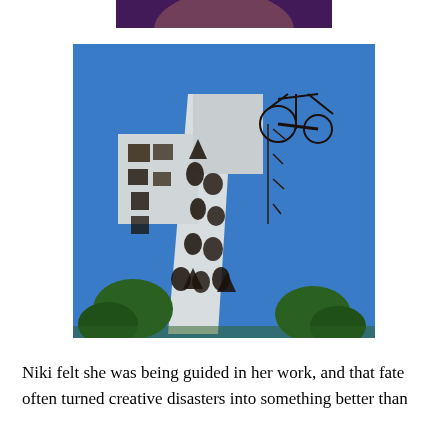[Figure (photo): Partial photo at top of page, cropped — shows a purple/dark background with a face, partially visible.]
[Figure (photo): A tall white sculptural tower structure with irregular window cutouts against a blue sky. The top of the tower features a dark metal bicycle or carriage-like sculpture. Trees are visible at the base.]
Niki felt she was being guided in her work, and that fate often turned creative disasters into something better than